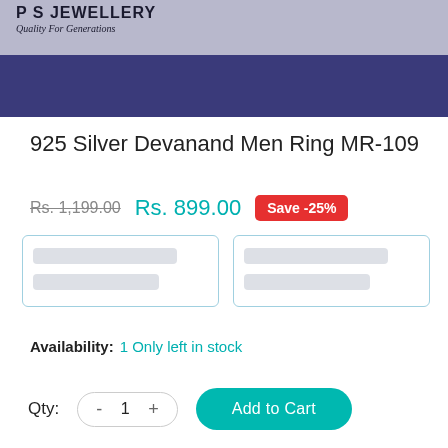PS JEWELLERY Quality For Generations
[Figure (screenshot): E-commerce product page screenshot for PS Jewellery showing a men's silver ring listing]
925 Silver Devanand Men Ring MR-109
Rs. 1,199.00  Rs. 899.00  Save -25%
Availability: 1 Only left in stock
Qty: - 1 +  Add to Cart